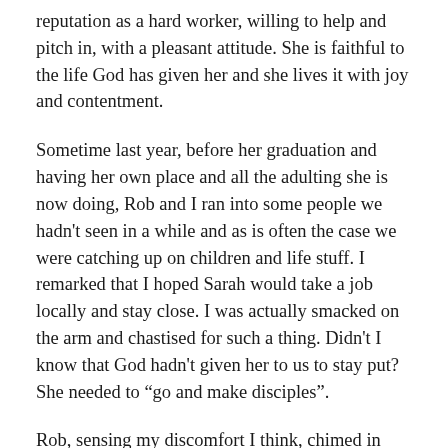reputation as a hard worker, willing to help and pitch in, with a pleasant attitude. She is faithful to the life God has given her and she lives it with joy and contentment.
Sometime last year, before her graduation and having her own place and all the adulting she is now doing, Rob and I ran into some people we hadn't seen in a while and as is often the case we were catching up on children and life stuff. I remarked that I hoped Sarah would take a job locally and stay close. I was actually smacked on the arm and chastised for such a thing. Didn't I know that God hadn't given her to us to stay put? She needed to “go and make disciples”.
Rob, sensing my discomfort I think, chimed in that our prayer was that she would be faithful to make disciples and be a faithful servant right here. Without missing a